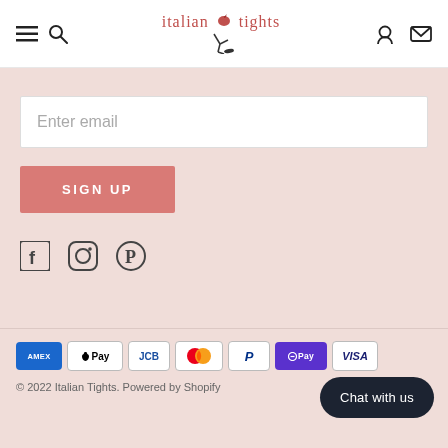italian tights
[Figure (other): Email signup input field with placeholder text 'Enter email']
SIGN UP
[Figure (other): Social media icons: Facebook, Instagram, Pinterest]
[Figure (other): Payment method icons: AMEX, Apple Pay, JCB, Mastercard, PayPal, Google Pay, Visa]
© 2022 Italian Tights. Powered by Shopify